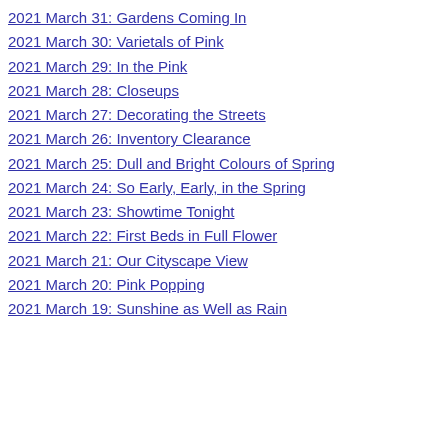2021 March 31: Gardens Coming In
2021 March 30: Varietals of Pink
2021 March 29: In the Pink
2021 March 28: Closeups
2021 March 27: Decorating the Streets
2021 March 26: Inventory Clearance
2021 March 25: Dull and Bright Colours of Spring
2021 March 24: So Early, Early, in the Spring
2021 March 23: Showtime Tonight
2021 March 22: First Beds in Full Flower
2021 March 21: Our Cityscape View
2021 March 20: Pink Popping
2021 March 19: Sunshine as Well as Rain